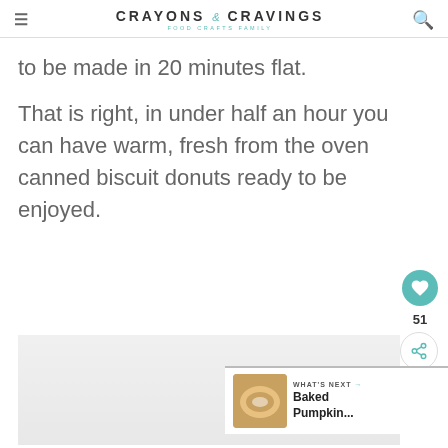CRAYONS & CRAVINGS – FOOD CRAFTS FAMILY
to be made in 20 minutes flat.
That is right, in under half an hour you can have warm, fresh from the oven canned biscuit donuts ready to be enjoyed.
[Figure (photo): Photo placeholder – partially visible biscuit donut image]
[Figure (other): What's Next widget showing Baked Pumpkin… with donut thumbnail]